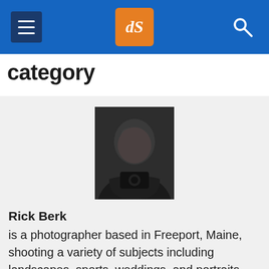dPS navigation header with hamburger menu, dPS logo, and search icon
category
[Figure (photo): Portrait photo of Rick Berk, a bald man in dark clothing holding a camera, posed with arms crossed, dark background]
Rick Berk is a photographer based in Freeport, Maine, shooting a variety of subjects including landscapes, sports, weddings, and portraits. Rick leads photo tours for World Wide